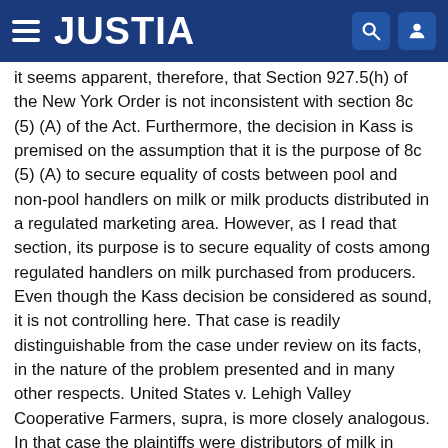JUSTIA
it seems apparent, therefore, that Section 927.5(h) of the New York Order is not inconsistent with section 8c (5) (A) of the Act. Furthermore, the decision in Kass is premised on the assumption that it is the purpose of 8c (5) (A) to secure equality of costs between pool and non-pool handlers on milk or milk products distributed in a regulated marketing area. However, as I read that section, its purpose is to secure equality of costs among regulated handlers on milk purchased from producers. Even though the Kass decision be considered as sound, it is not controlling here. That case is readily distinguishable from the case under review on its facts, in the nature of the problem presented and in many other respects. United States v. Lehigh Valley Cooperative Farmers, supra, is more closely analogous. In that case the plaintiffs were distributors of milk in northern New Jersey and by virtue of amendments to